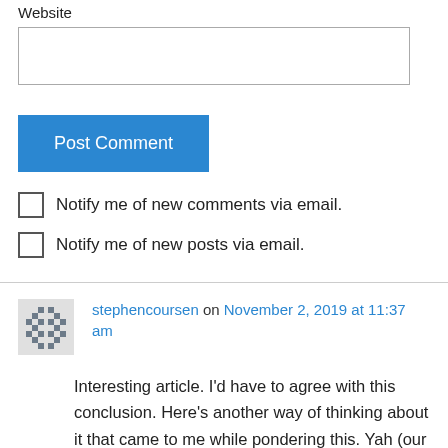Website
Post Comment
Notify me of new comments via email.
Notify me of new posts via email.
stephencoursen on November 2, 2019 at 11:37 am
Interesting article. I’d have to agree with this conclusion. Here’s another way of thinking about it that came to me while pondering this. Yah (our husband) has His role, we (His bride) have our role in our relationship with Him. We are not